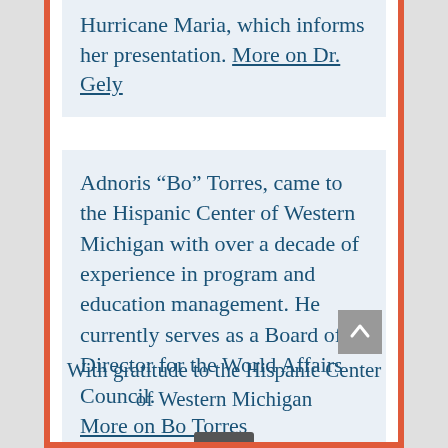Hurricane Maria, which informs her presentation. More on Dr. Gely
Adnoris “Bo” Torres, came to the Hispanic Center of Western Michigan with over a decade of experience in program and education management. He currently serves as a Board of Director for the World Affairs Council. More on Bo Torres
With gratitude to the Hispanic Center of Western Michigan